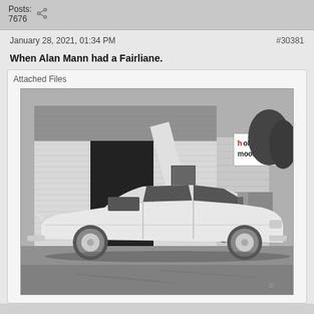Posts:
7676
January 28, 2021, 01:34 PM
#30381
When Alan Mann had a Fairliane.
Attached Files
[Figure (photo): Black and white photograph of a Ford Fairlane car parked in front of a building with a Holman Moody sign visible in the upper right corner. A truck is visible in the background. The car is white/light colored, a hardtop coupe viewed from the side.]